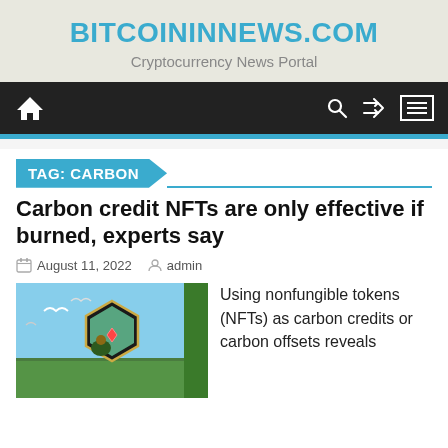BITCOININNEWS.COM
Cryptocurrency News Portal
[Figure (screenshot): Navigation bar with home icon, search icon, shuffle icon, and menu icon on dark background]
TAG: CARBON
Carbon credit NFTs are only effective if burned, experts say
August 11, 2022   admin
[Figure (illustration): Illustrated NFT card showing birds flying over a nature scene with a hexagonal frame]
Using nonfungible tokens (NFTs) as carbon credits or carbon offsets reveals